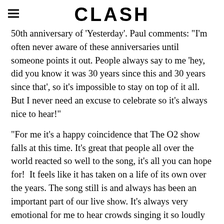CLASH
50th anniversary of 'Yesterday'. Paul comments: "I'm often never aware of these anniversaries until someone points it out. People always say to me 'hey, did you know it was 30 years since this and 30 years since that', so it's impossible to stay on top of it all. But I never need an excuse to celebrate so it's always nice to hear!"
"For me it's a happy coincidence that The O2 show falls at this time. It's great that people all over the world reacted so well to the song, it's all you can hope for!  It feels like it has taken on a life of its own over the years. The song still is and always has been an important part of our live show. It's always very emotional for me to hear crowds singing it so loudly at my concerts and I'm looking forward to singing it along with the audience at the O2 in May."
UPDATE London and Liverpool shows sold out within an hour, with Paul McCartney now adding a second date at the O2 Arena.